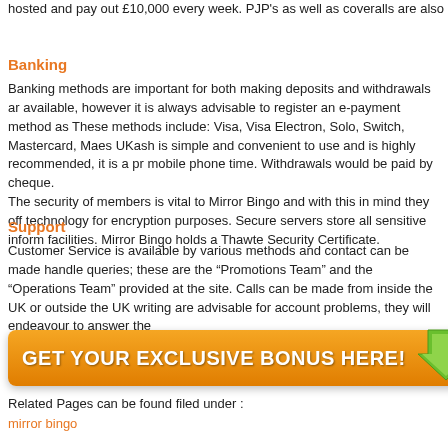hosted and pay out £10,000 every week. PJP's as well as coveralls are also a big hit at Mirror Bingo and you will find slots, scratch cards, lotto, bingo, casino, plenty of prize draws and loads of great stuff to get involved in as well as the
Banking
Banking methods are important for both making deposits and withdrawals and are available, however it is always advisable to register an e-payment method as well. These methods include: Visa, Visa Electron, Solo, Switch, Mastercard, Maestro. UKash is simple and convenient to use and is highly recommended, it is a prepaid mobile phone time. Withdrawals would be paid by cheque.
The security of members is vital to Mirror Bingo and with this in mind they offer technology for encryption purposes. Secure servers store all sensitive information facilities. Mirror Bingo holds a Thawte Security Certificate.
Support
Customer Service is available by various methods and contact can be made to handle queries; these are the “Promotions Team” and the “Operations Team” provided at the site. Calls can be made from inside the UK or outside the UK writing are advisable for account problems, they will endeavour to answer the
[Figure (other): Orange button with white bold text reading GET YOUR EXCLUSIVE BONUS HERE! with a green downward arrow on the right side]
Related Pages can be found filed under :
mirror bingo